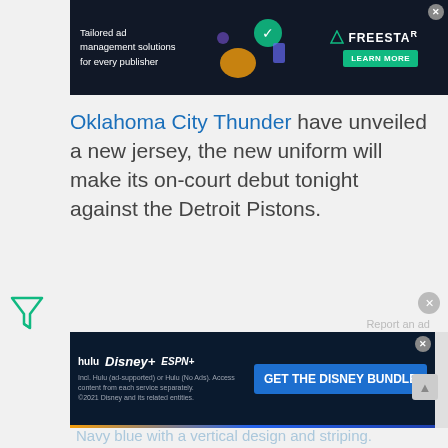[Figure (screenshot): Top advertisement banner for Freestar ad management platform, dark background with illustration of person and green checkmark]
Oklahoma City Thunder have unveiled a new jersey, the new uniform will make its on-court debut tonight against the Detroit Pistons.
[Figure (logo): Green filter/funnel icon on left side]
Report an ad
[Figure (screenshot): Bottom advertisement banner for Disney Bundle featuring Hulu, Disney+, and ESPN+ logos with blue 'GET THE DISNEY BUNDLE' button]
Navy blue with a vertical design and striping.